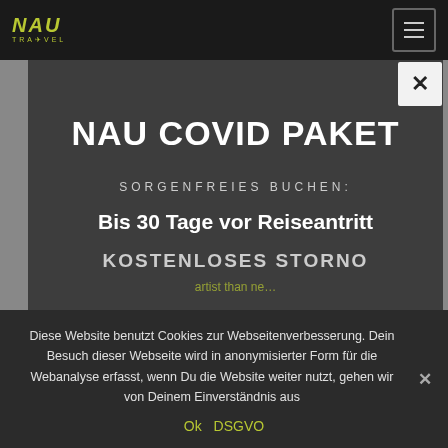[Figure (logo): NAU TRAVEL logo in olive/yellow-green color on dark background]
NAU COVID PAKET
SORGENFREIES BUCHEN:
Bis 30 Tage vor Reiseantritt
KOSTENLOSES STORNO
Diese Website benutzt Cookies zur Webseitenverbesserung. Dein Besuch dieser Webseite wird in anonymisierter Form für die Webanalyse erfasst, wenn Du die Website weiter nutzt, gehen wir von Deinem Einverständnis aus
Ok  DSGVO